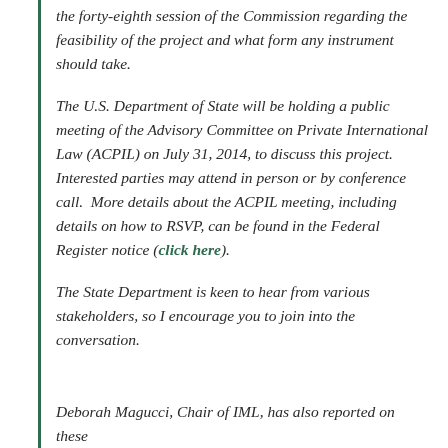the forty-eighth session of the Commission regarding the feasibility of the project and what form any instrument should take.
The U.S. Department of State will be holding a public meeting of the Advisory Committee on Private International Law (ACPIL) on July 31, 2014, to discuss this project.  Interested parties may attend in person or by conference call.  More details about the ACPIL meeting, including details on how to RSVP, can be found in the Federal Register notice (click here).
The State Department is keen to hear from various stakeholders, so I encourage you to join into the conversation.
Deborah Magucci, Chair of IML, has also reported on these